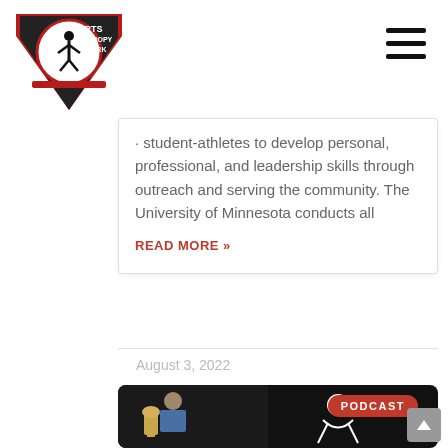[Figure (logo): Sports Philanthropy Network logo — circular shield with figure and text IRTS NTHROPY TWORK]
[Figure (other): Hamburger menu icon (three horizontal lines) in top right corner]
student-athletes to develop personal, professional, and leadership skills through outreach and serving the community. The University of Minnesota conducts all
READ MORE »
August 3, 2022
[Figure (photo): Podcast card image: man in suit holding a trophy on the left, black and white sports illustration graphic with PODCAST badge on the right]